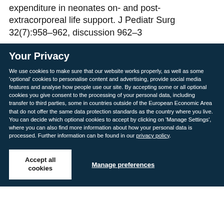expenditure in neonates on- and post-extracorporeal life support. J Pediatr Surg 32(7):958–962, discussion 962–3
Your Privacy
We use cookies to make sure that our website works properly, as well as some 'optional' cookies to personalise content and advertising, provide social media features and analyse how people use our site. By accepting some or all optional cookies you give consent to the processing of your personal data, including transfer to third parties, some in countries outside of the European Economic Area that do not offer the same data protection standards as the country where you live. You can decide which optional cookies to accept by clicking on 'Manage Settings', where you can also find more information about how your personal data is processed. Further information can be found in our privacy policy.
Accept all cookies
Manage preferences